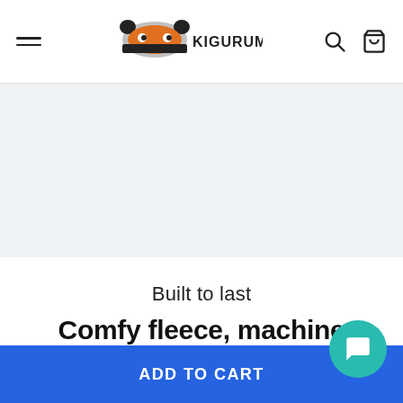KIGURUMI.COM navigation bar with hamburger menu, logo, search and cart icons
[Figure (photo): Light gray product image placeholder area]
Built to last
Comfy fleece, machine washable
We believe that a “costume” shouldn’t be disp…
ADD TO CART